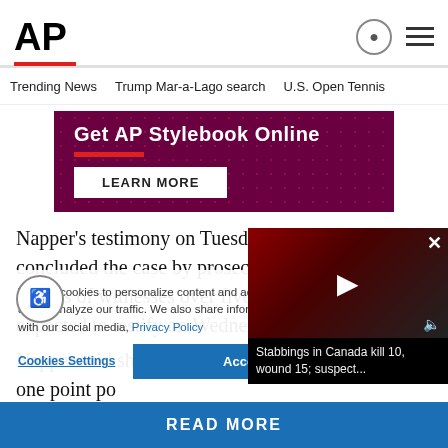AP
Trending News  Trump Mar-a-Lago search  U.S. Open Tennis
[Figure (infographic): AP Stylebook Online advertisement banner with maroon dotted background, red underline, and LEARN MORE button]
Napper's testimony on Tuesday afternoon concluded the case by prosecutors, who called dozens of witnesses over five days. Hankison is expected to testify on Wednesday.
Napper said she and Etherton ... the apartment and at one point po...
We use cookies to personalize content and ads, to provide social media features and to analyze our traffic. We also share information about your use of our site with our social media, Privacy Policy
[Figure (screenshot): Video popup showing Stabbings in Canada kill 10, wound 15; suspect...]
READ MORE